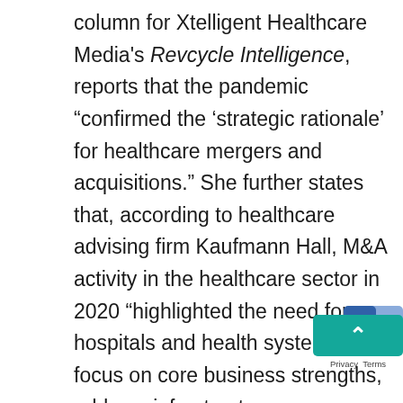column for Xtelligent Healthcare Media's Revcycle Intelligence, reports that the pandemic “confirmed the ‘strategic rationale’ for healthcare mergers and acquisitions.” She further states that, according to healthcare advising firm Kaufmann Hall, M&A activity in the healthcare sector in 2020 “highlighted the need for hospitals and health systems to focus on core business strengths, address infrastructure gaps through partnerships and strengthen intellectual capacity.”

Here again we can see echoes in the RIA sector, as independent advisors seek